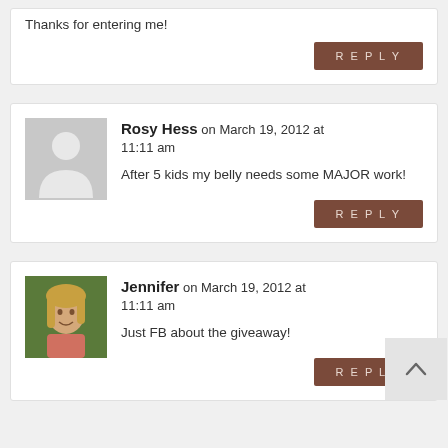Thanks for entering me!
REPLY
Rosy Hess on March 19, 2012 at 11:11 am
After 5 kids my belly needs some MAJOR work!
REPLY
Jennifer on March 19, 2012 at 11:11 am
Just FB about the giveaway!
REPLY